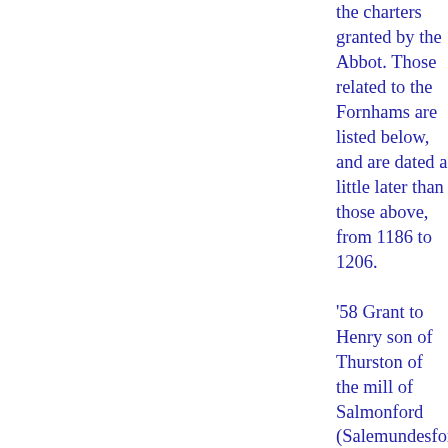the charters granted by the Abbot. Those related to the Fornhams are listed below, and are dated a little later than those above, from 1186 to 1206.

'58 Grant to Henry son of Thurston of the mill of Salmonford (Salemundesforde) (in Fornham All Saints) for 12d. a year to the Hall at Fornham; also 8 acres of land formerly belonging to William the priest in Hengrave, (Hemegrave) for 2s. a year to the Hall at Fornham.'

'59 Grant to Ailmer, son of Ailward of Fornham of the mill Ailmeres Melne at Fornham; the rent used to be 26s. but is now to be 30s. to the hall at